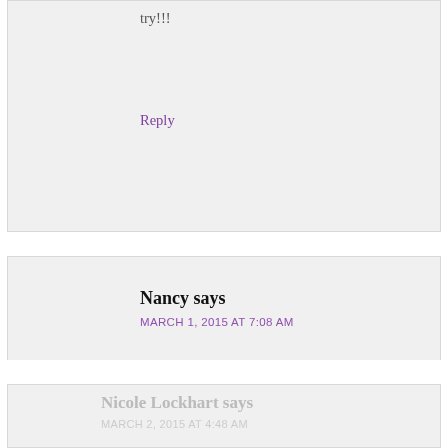try!!!
Reply
Nancy says
MARCH 1, 2015 AT 7:08 AM
I'm ready
Reply
Nicole Lockhart says
MARCH 2, 2015 AT 4:48 AM